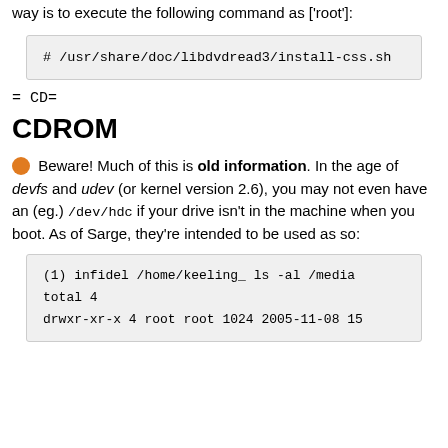way is to execute the following command as ['root']:
# /usr/share/doc/libdvdread3/install-css.sh
= CD=
CDROM
Beware! Much of this is old information. In the age of devfs and udev (or kernel version 2.6), you may not even have an (eg.) /dev/hdc if your drive isn't in the machine when you boot. As of Sarge, they're intended to be used as so:
(1) infidel /home/keeling_ ls -al /media
total 4
drwxr-xr-x  4 root root 1024 2005-11-08 15